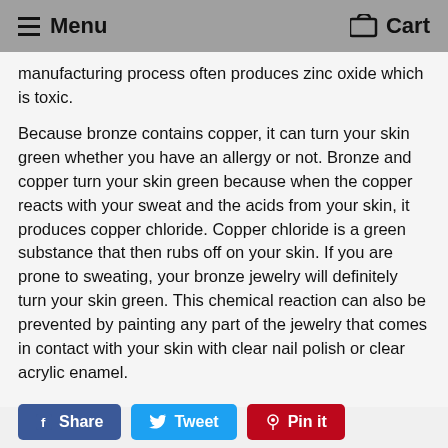Menu  Cart
manufacturing process often produces zinc oxide which is toxic.
Because bronze contains copper, it can turn your skin green whether you have an allergy or not. Bronze and copper turn your skin green because when the copper reacts with your sweat and the acids from your skin, it produces copper chloride. Copper chloride is a green substance that then rubs off on your skin. If you are prone to sweating, your bronze jewelry will definitely turn your skin green. This chemical reaction can also be prevented by painting any part of the jewelry that comes in contact with your skin with clear nail polish or clear acrylic enamel.
Share  Tweet  Pin it